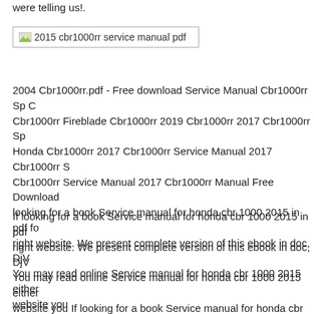were telling us!.
[Figure (other): Broken image placeholder labeled '2015 cbr1000rr service manual pdf']
2004 Cbr1000rr.pdf - Free download Service Manual Cbr1000rr Sp C Cbr1000rr Fireblade Cbr1000rr 2019 Cbr1000rr 2017 Cbr1000rr Sp Honda Cbr1000rr 2017 Cbr1000rr Service Manual 2017 Cbr1000rr S Cbr1000rr Service Manual 2017 Cbr1000rr Manual Free Download looking for a book Service manual for honda cbr 1000 2015 in pdf fo right website. We present complete version of this ebook in doc, DjV You may read online Service manual for honda cbr 1000 2015 either website you
If looking for a book Service manual for honda cbr 1000 2015 in pdf right website. We present complete version of this ebook in doc, DjV You may read online Service manual for honda cbr 1000 2015 either website you If looking for a book Service manual for honda cbr 1000 you've come to right website. We present complete version of this el